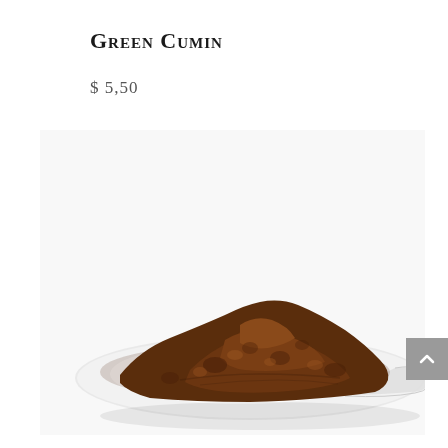Green Cumin
$ 5,50
[Figure (photo): A white ceramic spoon heaped with green cumin powder (dark brown ground spice) on a white background.]